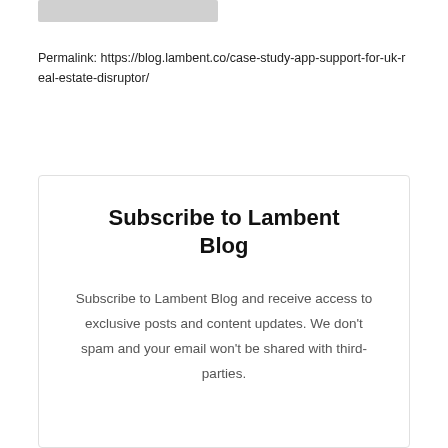[Figure (other): Gray rectangular bar at top of page, partially visible]
Permalink: https://blog.lambent.co/case-study-app-support-for-uk-real-estate-disruptor/
Subscribe to Lambent Blog
Subscribe to Lambent Blog and receive access to exclusive posts and content updates. We don't spam and your email won't be shared with third-parties.